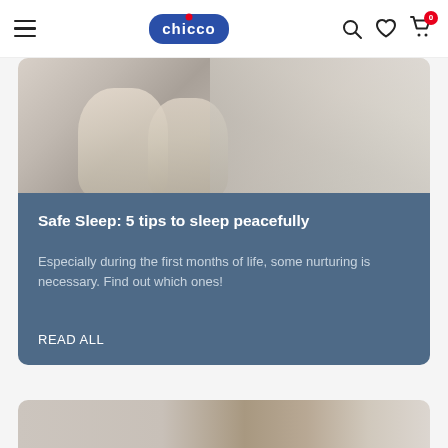Chicco navigation bar with hamburger menu, Chicco logo, search, wishlist, and cart icons
[Figure (photo): Baby lying on a surface showing legs and feet, wearing a white onesie/diaper]
Safe Sleep: 5 tips to sleep peacefully
Especially during the first months of life, some nurturing is necessary. Find out which ones!
READ ALL
[Figure (photo): Partial view of a person (woman) at the bottom of the page, teaser for next article]